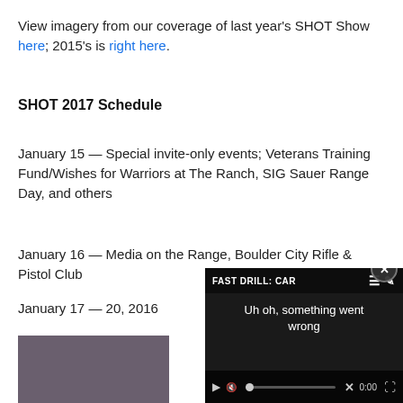View imagery from our coverage of last year's SHOT Show here; 2015's is right here.
SHOT 2017 Schedule
January 15 — Special invite-only events; Veterans Training Fund/Wishes for Warriors at The Ranch, SIG Sauer Range Day, and others
January 16 — Media on the Range, Boulder City Rifle & Pistol Club
January 17 — 20, 2016
[Figure (screenshot): Video player overlay showing 'FAST DRILL: CAR' title and error message 'Uh oh, something went wrong' with playback controls showing 0:00]